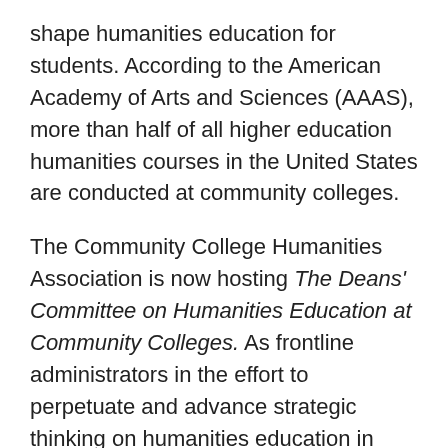shape humanities education for students. According to the American Academy of Arts and Sciences (AAAS), more than half of all higher education humanities courses in the United States are conducted at community colleges.
The Community College Humanities Association is now hosting The Deans' Committee on Humanities Education at Community Colleges. As frontline administrators in the effort to perpetuate and advance strategic thinking on humanities education in community colleges, the CCHA Dean's Committee will meet annually at CCHA and/or AACC events, as well as communicate regularly through asynchronous online platforms. The working committee will be tasked to share ideas and make recommendations on such issues as:
What might humanities courses look like in the